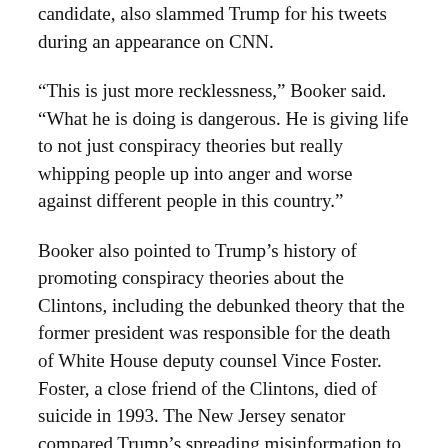candidate, also slammed Trump for his tweets during an appearance on CNN.
“This is just more recklessness,” Booker said. “What he is doing is dangerous. He is giving life to not just conspiracy theories but really whipping people up into anger and worse against different people in this country.”
Booker also pointed to Trump’s history of promoting conspiracy theories about the Clintons, including the debunked theory that the former president was responsible for the death of White House deputy counsel Vince Foster. Foster, a close friend of the Clintons, died of suicide in 1993. The New Jersey senator compared Trump’s spreading misinformation to Russian propaganda.
“This is a very dangerous president that we have right